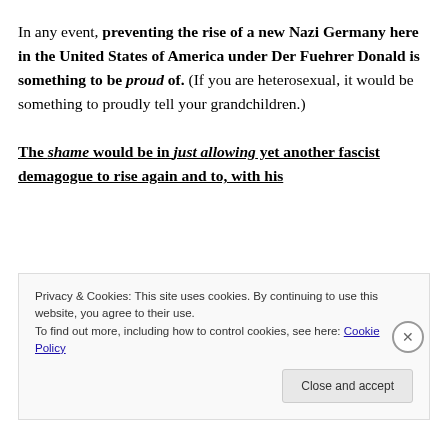In any event, preventing the rise of a new Nazi Germany here in the United States of America under Der Fuehrer Donald is something to be proud of. (If you are heterosexual, it would be something to proudly tell your grandchildren.)
The shame would be in just allowing yet another fascist demagogue to rise again and to, with his
Privacy & Cookies: This site uses cookies. By continuing to use this website, you agree to their use. To find out more, including how to control cookies, see here: Cookie Policy